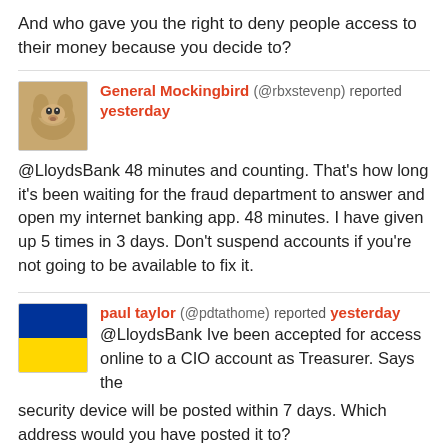And who gave you the right to deny people access to their money because you decide to?
General Mockingbird (@rbxstevenp) reported yesterday @LloydsBank 48 minutes and counting. That's how long it's been waiting for the fraud department to answer and open my internet banking app. 48 minutes. I have given up 5 times in 3 days. Don't suspend accounts if you're not going to be available to fix it.
paul taylor (@pdtathome) reported yesterday @LloydsBank Ive been accepted for access online to a CIO account as Treasurer. Says the security device will be posted within 7 days. Which address would you have posted it to?